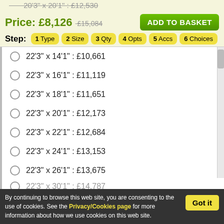20'3" x 20'1" : £12,530 (strikethrough/partial top)
Price: £8,126   £15,084 (strikethrough)
ADD TO BASKET
Step: 1 Type  2 Size  3 Qty  4 Opts  5 Accs  6 Choices
22'3" x 14'1" : £10,661
22'3" x 16'1" : £11,119
22'3" x 18'1" : £11,651
22'3" x 20'1" : £12,173
22'3" x 22'1" : £12,684
22'3" x 24'1" : £13,153
22'3" x 26'1" : £13,675
22'3" x 28'1" : £14,234
22'3" x 30'1" : £14,787 (partial, cut off)
By continuing to browse this web site, you are consenting to the use of cookies. See the Privacy/Cookies page for more information about how we use cookies on this web site.
Got it